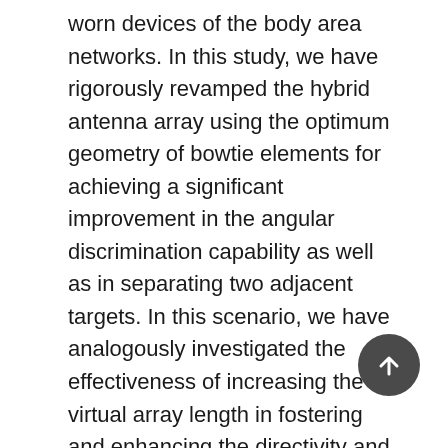worn devices of the body area networks. In this study, we have rigorously revamped the hybrid antenna array using the optimum geometry of bowtie elements for achieving a significant improvement in the angular discrimination capability as well as in separating two adjacent targets. In this scenario, we have analogously investigated the effectiveness of increasing the virtual array length in fostering and enhancing the directivity and angular resolution in the 10 GHz frequency. The simulation results have extensively verified that the proposed antenna array represents a drastic enhancement in terms of size, directivity, side lobe level (SLL) and, especially resolution compared with the other available geometries. We have also verified that the maximum directivities of the proposed hybrid antenna array represent the robustness to the all variations, which is accompanied by the uniform 3D scanning characteristic.